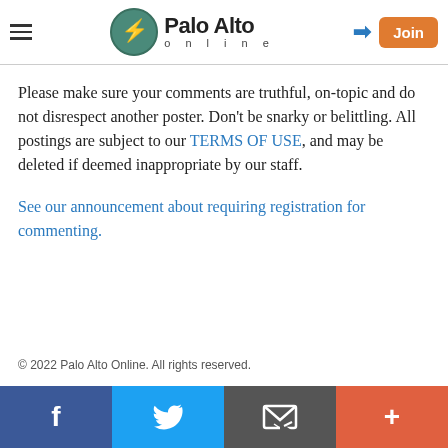Palo Alto Online
Please make sure your comments are truthful, on-topic and do not disrespect another poster. Don't be snarky or belittling. All postings are subject to our TERMS OF USE, and may be deleted if deemed inappropriate by our staff.
See our announcement about requiring registration for commenting.
© 2022 Palo Alto Online. All rights reserved.